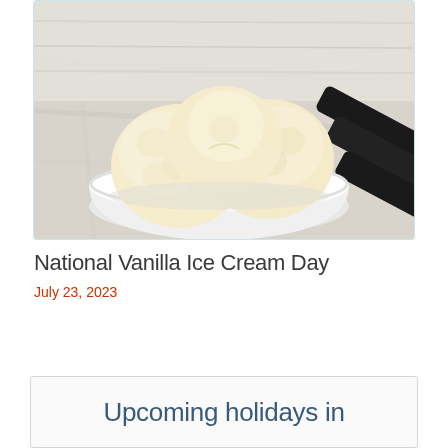[Figure (photo): A white bowl filled with three scoops of vanilla ice cream, photographed on a marble surface with a black ice cream scoop visible to the right side.]
National Vanilla Ice Cream Day
July 23, 2023
Upcoming holidays in